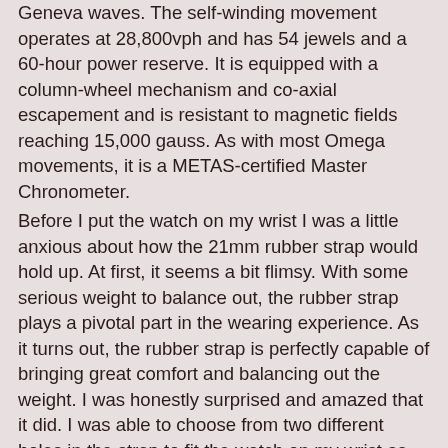Geneva waves. The self-winding movement operates at 28,800vph and has 54 jewels and a 60-hour power reserve. It is equipped with a column-wheel mechanism and co-axial escapement and is resistant to magnetic fields reaching 15,000 gauss. As with most Omega movements, it is a METAS-certified Master Chronometer. Before I put the watch on my wrist I was a little anxious about how the 21mm rubber strap would hold up. At first, it seems a bit flimsy. With some serious weight to balance out, the rubber strap plays a pivotal part in the wearing experience. As it turns out, the rubber strap is perfectly capable of bringing great comfort and balancing out the weight. I was honestly surprised and amazed that it did. I was able to choose from two different holes in the strap to fit the watch on my wrist as they are close to each other. It allows you to get a tight fit if you want to have your watch placed rock-solid on your wrist. I preferred to give it some room to move, making sure it could work with whatever clothing I had on. Once on the wrist, the Omega Seamaster 300M Chronograph is very easy to use. If there is one thing you don't have to worry about, it's operating the chronograph. As the case is so heavy, giving the pushers a firm click doesn't result in a lot of